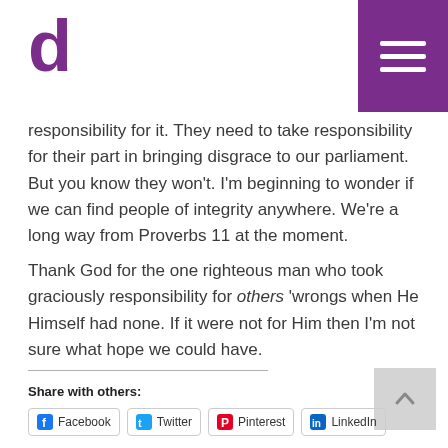d [logo] | hamburger menu
responsibility for it. They need to take responsibility for their part in bringing disgrace to our parliament. But you know they won't. I'm beginning to wonder if we can find people of integrity anywhere. We're a long way from Proverbs 11 at the moment.
Thank God for the one righteous man who took graciously responsibility for others' wrongs when He Himself had none. If it were not for Him then I'm not sure what hope we could have.
Share with others:
Facebook   Twitter   Pinterest   LinkedIn